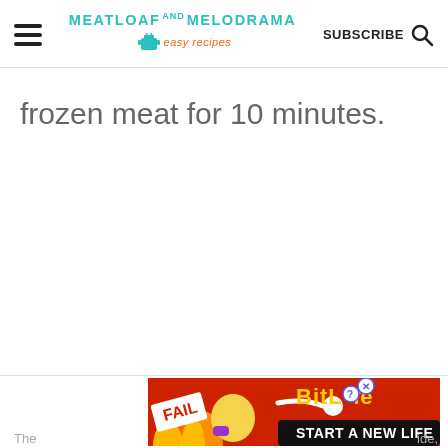MEATLOAF AND MELODRAMA easy recipes | SUBSCRIBE
frozen meat for 10 minutes.
[Figure (other): Advertisement banner: BitLife 'Start a New Life' game ad with fire, fail text, and cartoon character]
The ... ide,